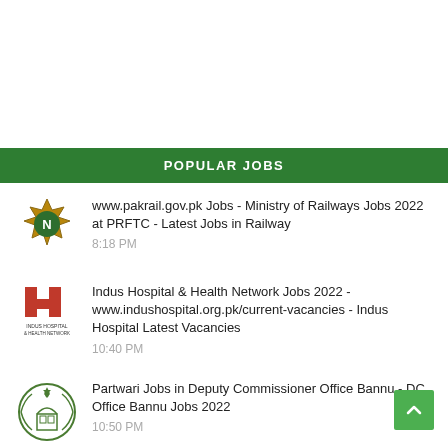POPULAR JOBS
www.pakrail.gov.pk Jobs - Ministry of Railways Jobs 2022 at PRFTC - Latest Jobs in Railway
8:18 PM
Indus Hospital & Health Network Jobs 2022 - www.indushospital.org.pk/current-vacancies - Indus Hospital Latest Vacancies
10:40 PM
Partwari Jobs in Deputy Commissioner Office Bannu - DC Office Bannu Jobs 2022
10:50 PM